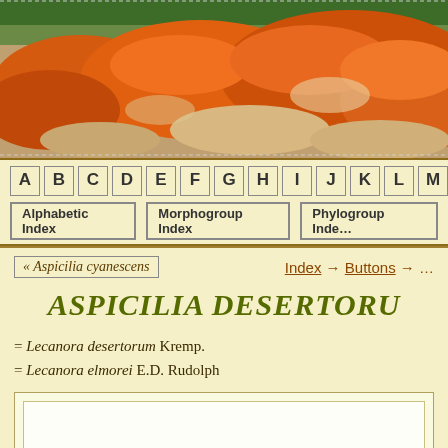[Figure (photo): Photograph of orange lichen (Aspicilia) growing on rocks, with green forest in background. Orange rocky outcrop covered densely with orange lichen.]
A  B  C  D  E  F  G  H  I  J  K  L  M  |  Alphabetic Index  |  Morphogroup Index  |  Phylogroup Index
« Aspicilia cyanescens
Index → Buttons →
ASPICILIA DESERTORU
= Lecanora desertorum Kremp.
= Lecanora elmorei E.D. Rudolph